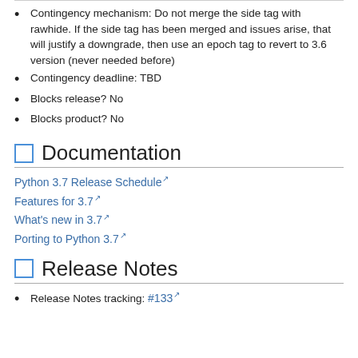Contingency mechanism: Do not merge the side tag with rawhide. If the side tag has been merged and issues arise, that will justify a downgrade, then use an epoch tag to revert to 3.6 version (never needed before)
Contingency deadline: TBD
Blocks release? No
Blocks product? No
Documentation
Python 3.7 Release Schedule
Features for 3.7
What's new in 3.7
Porting to Python 3.7
Release Notes
Release Notes tracking: #133